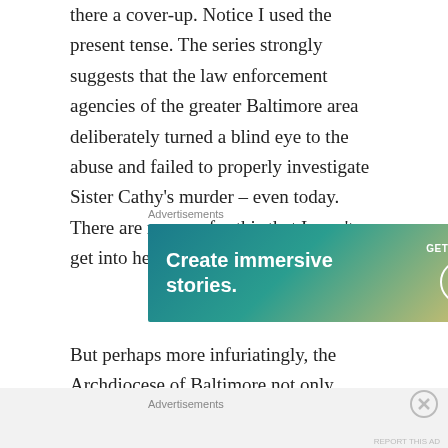there a cover-up. Notice I used the present tense. The series strongly suggests that the law enforcement agencies of the greater Baltimore area deliberately turned a blind eye to the abuse and failed to properly investigate Sister Cathy's murder – even today. There are reasons for this that I won't get into here.
Advertisements
[Figure (other): WordPress advertisement banner: 'Create immersive stories. GET THE APP' with WordPress logo]
But perhaps more infuriatingly, the Archdiocese of Baltimore not only refused to give an interview to the filmmakers, but a) lied to the filmmakers about the
Advertisements